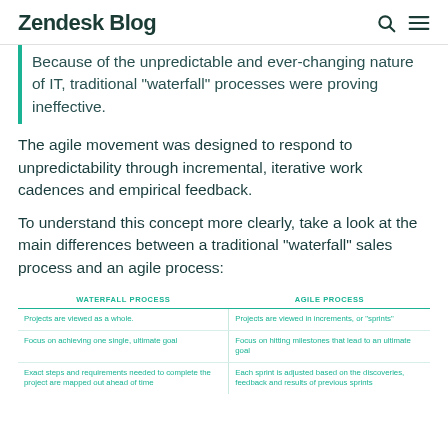Zendesk Blog
Because of the unpredictable and ever-changing nature of IT, traditional “waterfall” processes were proving ineffective.
The agile movement was designed to respond to unpredictability through incremental, iterative work cadences and empirical feedback.
To understand this concept more clearly, take a look at the main differences between a traditional “waterfall” sales process and an agile process:
| WATERFALL PROCESS | AGILE PROCESS |
| --- | --- |
| Projects are viewed as a whole. | Projects are viewed in increments, or “sprints” |
| Focus on achieving one single, ultimate goal | Focus on hitting milestones that lead to an ultimate goal |
| Exact steps and requirements needed to complete the project are mapped out ahead of time | Each sprint is adjusted based on the discoveries, feedback and results of previous sprints |